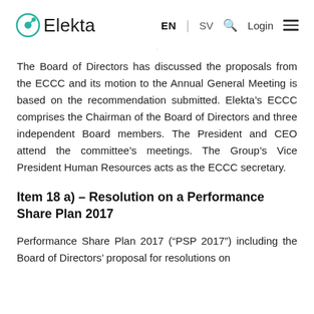Elekta | EN | SV | Login
The Board of Directors has discussed the proposals from the ECCC and its motion to the Annual General Meeting is based on the recommendation submitted. Elekta’s ECCC comprises the Chairman of the Board of Directors and three independent Board members. The President and CEO attend the committee’s meetings. The Group’s Vice President Human Resources acts as the ECCC secretary.
Item 18 a) – Resolution on a Performance Share Plan 2017
Performance Share Plan 2017 (“PSP 2017”) including the Board of Directors’ proposal for resolutions on